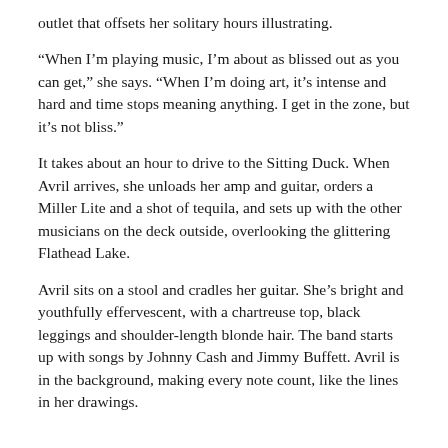outlet that offsets her solitary hours illustrating.
“When I’m playing music, I’m about as blissed out as you can get,” she says. “When I’m doing art, it’s intense and hard and time stops meaning anything. I get in the zone, but it’s not bliss.”
It takes about an hour to drive to the Sitting Duck. When Avril arrives, she unloads her amp and guitar, orders a Miller Lite and a shot of tequila, and sets up with the other musicians on the deck outside, overlooking the glittering Flathead Lake.
Avril sits on a stool and cradles her guitar. She’s bright and youthfully effervescent, with a chartreuse top, black leggings and shoulder-length blonde hair. The band starts up with songs by Johnny Cash and Jimmy Buffett. Avril is in the background, making every note count, like the lines in her drawings.